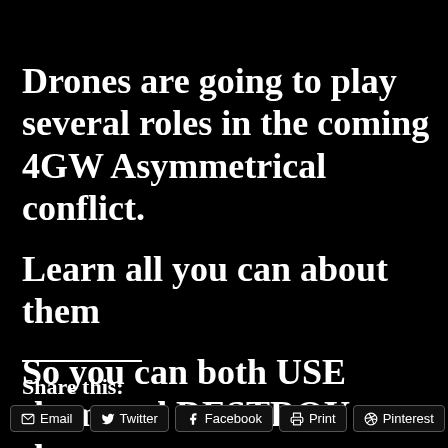Drones are going to play several roles in the coming 4GW Asymmetrical conflict.
Learn all you can about them
So you can both USE them and DESTROY them.
Share this:
Email
Twitter
Facebook
Print
Pinterest